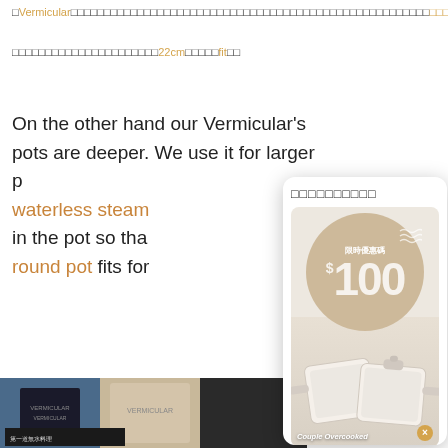□Vermicular□□□□□□□□□□□□□□□□□□□□□□□□□□□□□□□□□□□□□□
□□□□□□□□□□□□□□□□□□□□□□22cm□□□□□fit□□
On the other hand our Vermicular's pots are deeper. We use it for larger p□ waterless steam□ in the pot so tha□ round pot fits for□
[Figure (photo): Promotional modal popup showing cookware (pans/skillets) with a beige promotional circle showing '$100' discount text in Chinese '限時優惠碼' (Limited time promo code), with caption 'Couple Overcooked' and a close button]
[Figure (photo): Vermicular product boxes and packaging displayed, with Japanese text visible]